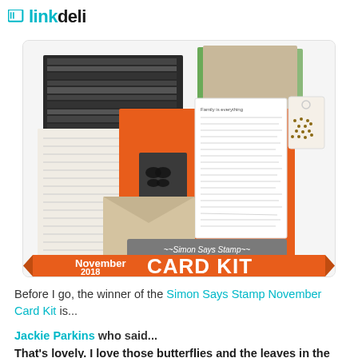[Figure (logo): linkdeli logo with teal square icon and bold text]
[Figure (photo): Simon Says Stamp November 2018 Card Kit product image showing stamps, papers, an envelope, and crafting materials with orange banner reading 'November 2018 CARD KIT']
Before I go, the winner of the Simon Says Stamp November Card Kit is...
Jackie Parkins who said...
That's lovely. I love those butterflies and the leaves in the stamp set are gorgeous.